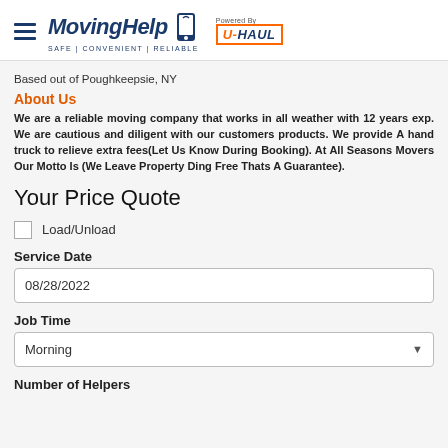[Figure (logo): MovingHelp logo powered by U-Haul with hamburger menu icon]
Based out of Poughkeepsie, NY
About Us
We are a reliable moving company that works in all weather with 12 years exp. We are cautious and diligent with our customers products. We provide A hand truck to relieve extra fees(Let Us Know During Booking). At All Seasons Movers Our Motto Is (We Leave Property Ding Free Thats A Guarantee).
Your Price Quote
Load/Unload
Service Date
08/28/2022
Job Time
Morning
Number of Helpers